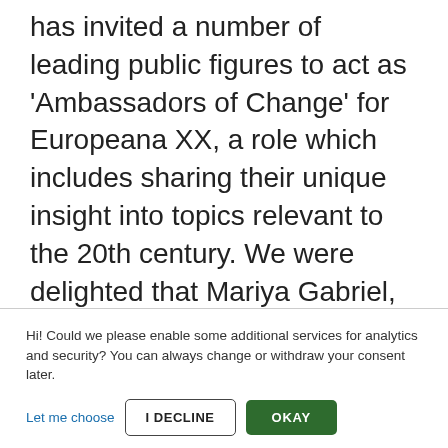has invited a number of leading public figures to act as 'Ambassadors of Change' for Europeana XX, a role which includes sharing their unique insight into topics relevant to the 20th century. We were delighted that Mariya Gabriel, European Commissioner for Innovation, Research, Culture, Education  and responsible for programmes such as Horizon Europe, Erasmus+ and Creative Europe, accepted this invitation.
Hi! Could we please enable some additional services for analytics and security? You can always change or withdraw your consent later.
Let me choose
I DECLINE
OKAY